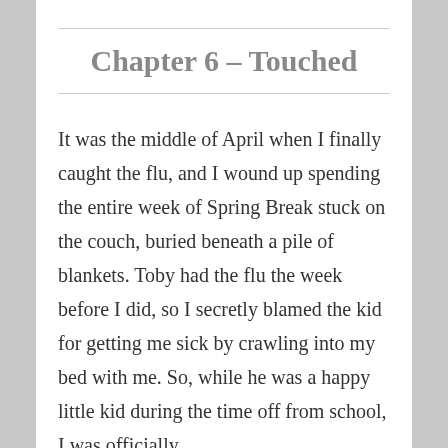Chapter 6 – Touched
It was the middle of April when I finally caught the flu, and I wound up spending the entire week of Spring Break stuck on the couch, buried beneath a pile of blankets. Toby had the flu the week before I did, so I secretly blamed the kid for getting me sick by crawling into my bed with me. So, while he was a happy little kid during the time off from school, I was officially